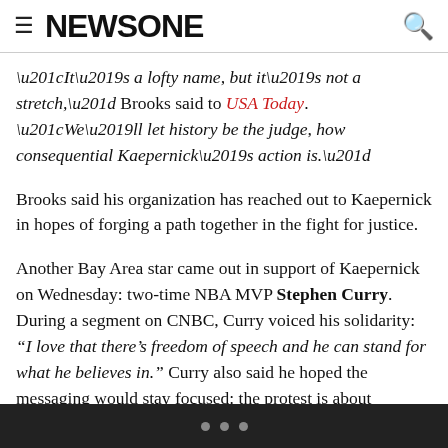≡ NEWSONE 🔍
“It’s a lofty name, but it’s not a stretch,” Brooks said to USA Today. “We’ll let history be the judge, how consequential Kaepernick’s action is.”
Brooks said his organization has reached out to Kaepernick in hopes of forging a path together in the fight for justice.
Another Bay Area star came out in support of Kaepernick on Wednesday: two-time NBA MVP Stephen Curry. During a segment on CNBC, Curry voiced his solidarity: “I love that there’s freedom of speech and he can stand for what he believes in.” Curry also said he hoped the messaging would stay focused: the protest is about
• • •